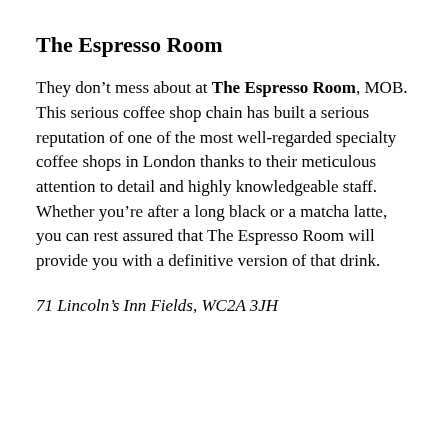The Espresso Room
They don’t mess about at The Espresso Room, MOB. This serious coffee shop chain has built a serious reputation of one of the most well-regarded specialty coffee shops in London thanks to their meticulous attention to detail and highly knowledgeable staff. Whether you’re after a long black or a matcha latte, you can rest assured that The Espresso Room will provide you with a definitive version of that drink.
71 Lincoln’s Inn Fields, WC2A 3JH